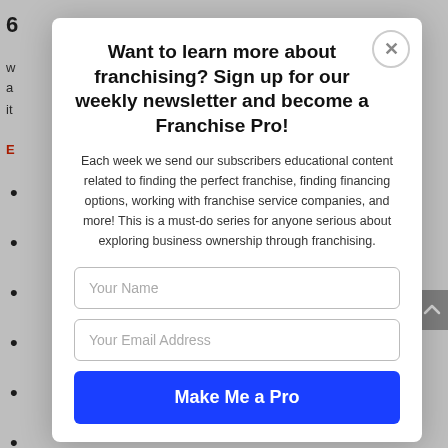Want to learn more about franchising? Sign up for our weekly newsletter and become a Franchise Pro!
Each week we send our subscribers educational content related to finding the perfect franchise, finding financing options, working with franchise service companies, and more! This is a must-do series for anyone serious about exploring business ownership through franchising.
Your Name
Your Email Address
Make Me a Pro